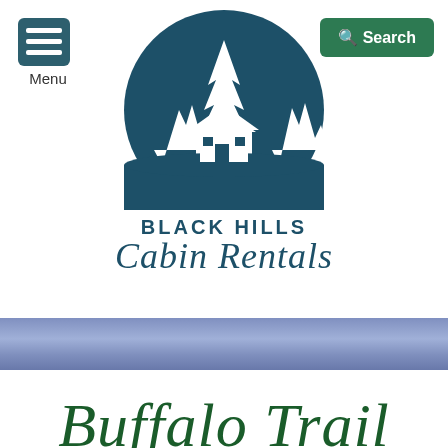[Figure (logo): Black Hills Cabin Rentals logo: teal circular background with white silhouette pine trees and cabin house]
BLACK HILLS Cabin Rentals
[Figure (photo): Blue/purple gradient banner strip]
Buffalo Trail